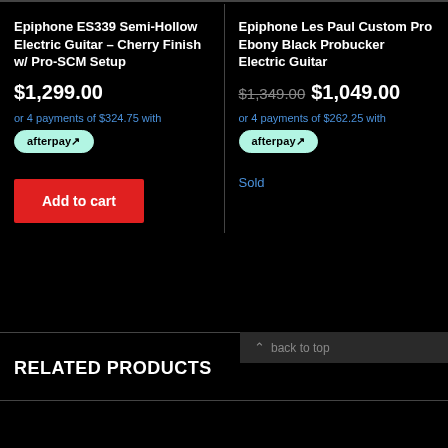Epiphone ES339 Semi-Hollow Electric Guitar – Cherry Finish w/ Pro-SCM Setup
$1,299.00
or 4 payments of $324.75 with afterpay
Add to cart
Epiphone Les Paul Custom Pro Ebony Black Probucker Electric Guitar
$1,349.00 $1,049.00
or 4 payments of $262.25 with afterpay
Sold
RELATED PRODUCTS